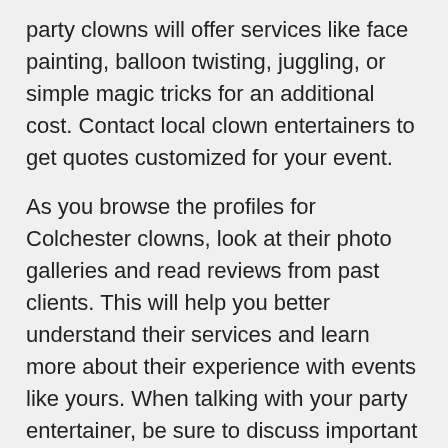party clowns will offer services like face painting, balloon twisting, juggling, or simple magic tricks for an additional cost. Contact local clown entertainers to get quotes customized for your event.
As you browse the profiles for Colchester clowns, look at their photo galleries and read reviews from past clients. This will help you better understand their services and learn more about their experience with events like yours. When talking with your party entertainer, be sure to discuss important details like location, venue requirements, and any special needs or requests. Most professional clowns are willing to adjust or tone down their makeup for any guests who might have a fear of clowns.
Once you find a clown you want to hire, finalize the booking through GigSalad. Our easy-to-use platform lets you communicate with the performer, confirm the booking, and make a secure payment all in one place. Every GigSalad booking is protected by our Worry-Free Guarantee so you can rest easy knowing we've got your back. You can focus on having fun! Search for Clowns in